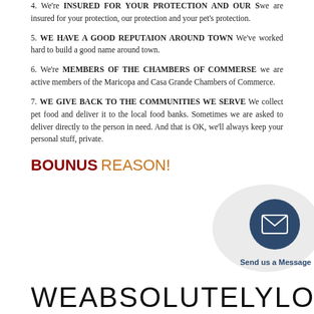4. We're INSURED FOR YOUR PROTECTION AND OUR S we are insured for your protection, our protection and your pet's protection.
5. WE HAVE A GOOD REPUTAION AROUND TOWN We've worked hard to build a good name around town.
6. We're MEMBERS OF THE CHAMBERS OF COMMERSE we are active members of the Maricopa and Casa Grande Chambers of Commerce.
7. WE GIVE BACK TO THE COMMUNITIES WE SERVE We collect pet food and deliver it to the local food banks. Sometimes we are asked to deliver directly to the person in need. And that is OK, we'll always keep your personal stuff, private.
BOUNUS REASON!
[Figure (infographic): Send us a Message button: circular dark blue icon with envelope, surrounded by gray bubble]
WE    ABSOLUTELY    LOVE